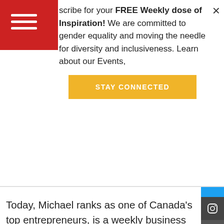scribe for your FREE Weekly dose of Inspiration! We are committed to gender equality and moving the needle for diversity and inclusiveness. Learn about our Events,
STAY CONNECTED
Today, Michael ranks as one of Canada's top entrepreneurs, is a weekly business commentator on the CBC, and was a celebrated Dragon on CBCs online DragonsDen.
Michael is an investor on the hit Spotify podcast The Pitch, and a Founding Partner and Fellow at the Rotman School of Managements prestigious Creative Destruction Lab. He also sits on the CEO Board of Advisors at Georgian Partners, one